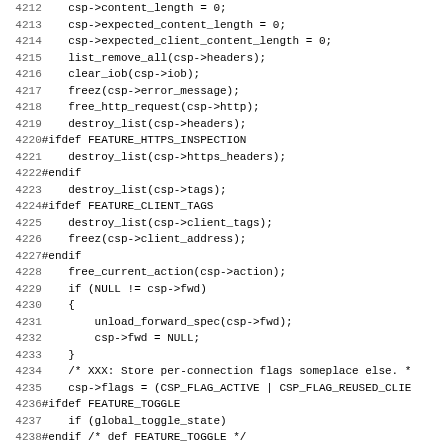[Figure (screenshot): Source code listing in monospace font showing C code lines 4212-4243, with line numbers on the left and code on the right. The code shows reset/cleanup operations on a client state pointer (csp), including conditional compilation blocks for FEATURE_HTTPS_INSPECTION, FEATURE_CLIENT_TAGS, and FEATURE_TOGGLE.]